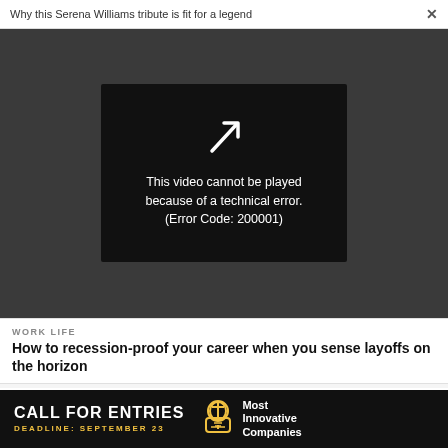Why this Serena Williams tribute is fit for a legend   ✕
[Figure (screenshot): Video player showing error message: 'This video cannot be played because of a technical error. (Error Code: 200001)']
WORK LIFE
How to recession-proof your career when you sense layoffs on the horizon
WORK LIFE
Why getting rid of this mindset can help you succeed in any negotiation
[Figure (infographic): Advertisement banner: CALL FOR ENTRIES, DEADLINE: SEPTEMBER 23, Most Innovative Companies]